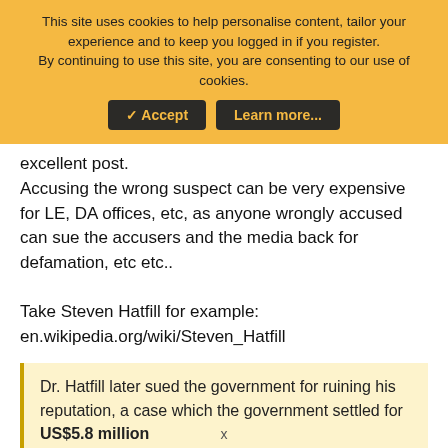This site uses cookies to help personalise content, tailor your experience and to keep you logged in if you register.
By continuing to use this site, you are consenting to our use of cookies.
[Accept] [Learn more...]
excellent post.
Accusing the wrong suspect can be very expensive for LE, DA offices, etc, as anyone wrongly accused can sue the accusers and the media back for defamation, etc etc..

Take Steven Hatfill for example:
en.wikipedia.org/wiki/Steven_Hatfill
Dr. Hatfill later sued the government for ruining his reputation, a case which the government settled for US$5.8 million
x